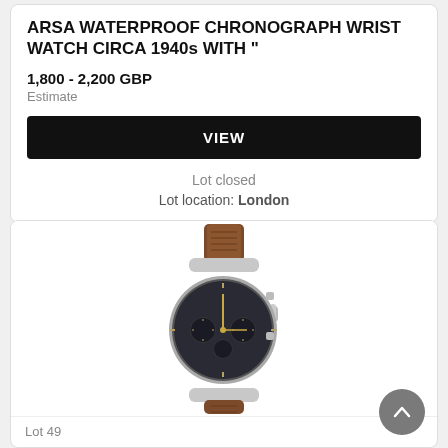ARSA WATERPROOF CHRONOGRAPH WRIST WATCH CIRCA 1940s WITH "
1,800 - 2,200 GBP
Estimate
VIEW
Lot closed
Lot location: London
[Figure (photo): Vintage ARSA waterproof chronograph wristwatch with dark dial, chronograph sub-dials, silver-tone case, and brown leather alligator strap, circa 1940s.]
Lot 49